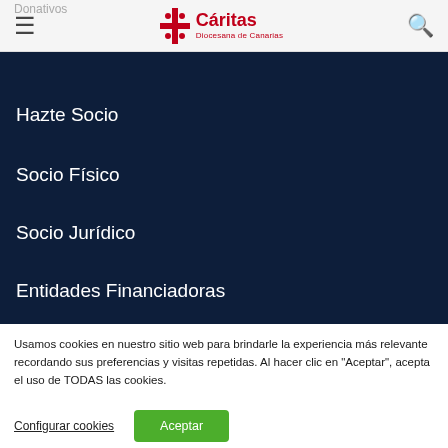Donativos | Cáritas Diocesana de Canarias
Hazte Socio
Socio Físico
Socio Jurídico
Entidades Financiadoras
Usamos cookies en nuestro sitio web para brindarle la experiencia más relevante recordando sus preferencias y visitas repetidas. Al hacer clic en "Aceptar", acepta el uso de TODAS las cookies.
Configurar cookies | Aceptar